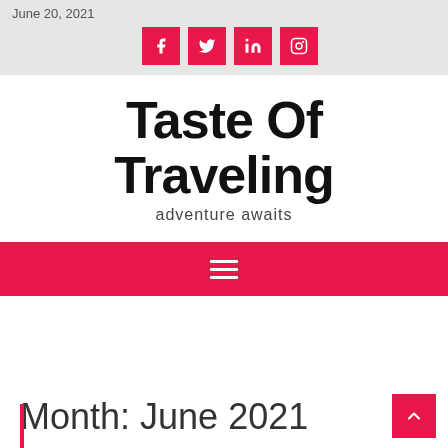June 20, 2021
[Figure (other): Social media icons: Facebook, Twitter, LinkedIn, Instagram — pink/red square buttons]
Taste Of Traveling
adventure awaits
[Figure (other): Pink/red navigation bar with hamburger menu icon (three horizontal white lines)]
Month: June 2021